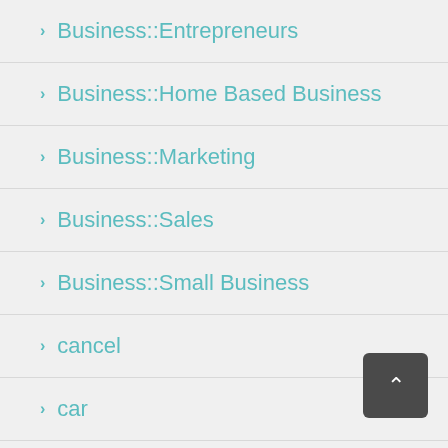Business::Entrepreneurs
Business::Home Based Business
Business::Marketing
Business::Sales
Business::Small Business
cancel
car
careers